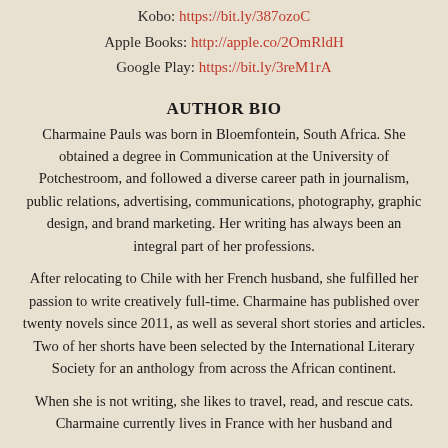Kobo: https://bit.ly/387ozoC
Apple Books: http://apple.co/2OmRldH
Google Play: https://bit.ly/3reM1rA
AUTHOR BIO
Charmaine Pauls was born in Bloemfontein, South Africa. She obtained a degree in Communication at the University of Potchestroom, and followed a diverse career path in journalism, public relations, advertising, communications, photography, graphic design, and brand marketing. Her writing has always been an integral part of her professions.
After relocating to Chile with her French husband, she fulfilled her passion to write creatively full-time. Charmaine has published over twenty novels since 2011, as well as several short stories and articles. Two of her shorts have been selected by the International Literary Society for an anthology from across the African continent.
When she is not writing, she likes to travel, read, and rescue cats. Charmaine currently lives in France with her husband and